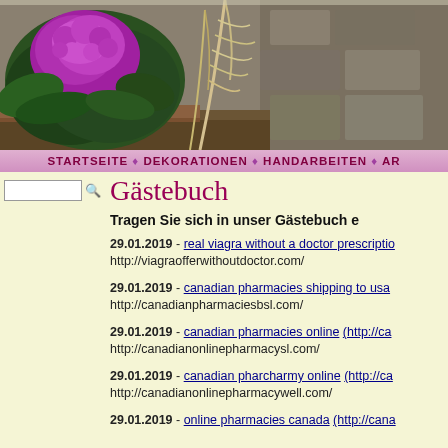[Figure (photo): Header photo showing purple ornamental kale/cabbage plant with a feather and stone wall background]
STARTSEITE ♦ DEKORATIONEN ♦ HANDARBEITEN ♦ AR
Gästebuch
Tragen Sie sich in unser Gästebuch e
29.01.2019 - real viagra without a doctor prescriptio
http://viagraofferwithoutdoctor.com/
29.01.2019 - canadian pharmacies shipping to usa
http://canadianpharmaciesbsl.com/
29.01.2019 - canadian pharmacies online (http://ca
http://canadianonlinepharmacysl.com/
29.01.2019 - canadian pharcharmy online (http://ca
http://canadianonlinepharmacywell.com/
29.01.2019 - online pharmacies canada (http://cana